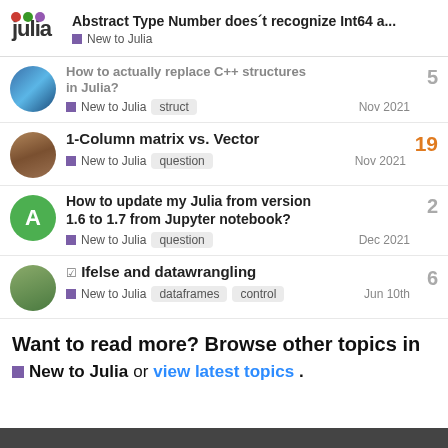Abstract Type Number does't recognize Int64 a... | New to Julia
How to actually replace C++ structures in Julia? | New to Julia | struct | Nov 2021 | replies: 5
1-Column matrix vs. Vector | New to Julia | question | Nov 2021 | replies: 19
How to update my Julia from version 1.6 to 1.7 from Jupyter notebook? | New to Julia | question | Dec 2021 | replies: 2
Ifelse and datawrangling | New to Julia | dataframes | control | Jun 10th | replies: 6
Want to read more? Browse other topics in
New to Julia or view latest topics.